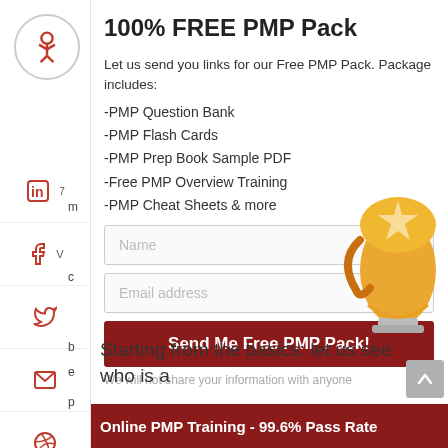100% FREE PMP Pack
Let us send you links for our Free PMP Pack. Package includes:
-PMP Question Bank
-PMP Flash Cards
-PMP Prep Book Sample PDF
-Free PMP Overview Training
-PMP Cheat Sheets & more
Name (form field)
Email address (form field)
Send Me Free PMP Pack!
We will not share your information with anyone
Starting from the basics: let us see who is a
Online PMP Training - 99.6% Pass Rate